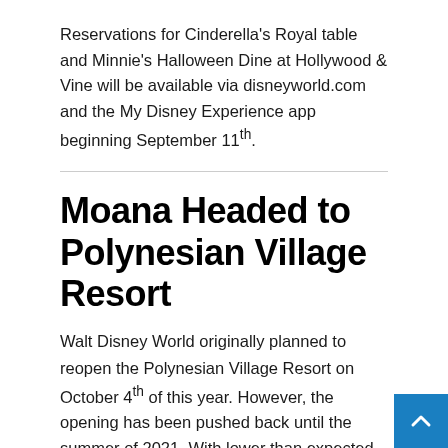Reservations for Cinderella's Royal table and Minnie's Halloween Dine at Hollywood & Vine will be available via disneyworld.com and the My Disney Experience app beginning September 11th.
Moana Headed to Polynesian Village Resort
Walt Disney World originally planned to reopen the Polynesian Village Resort on October 4th of this year. However, the opening has been pushed back until the summer of 2021. With lower than expected crowd levels, the resort hotel will instead undergo an extensive refurbishment with enhancements for the Great Ceremonial House and